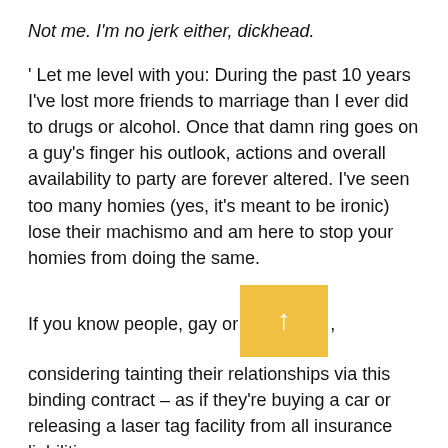Not me. I'm no jerk either, dickhead.
' Let me level with you: During the past 10 years I've lost more friends to marriage than I ever did to drugs or alcohol. Once that damn ring goes on a guy's finger his outlook, actions and overall availability to party are forever altered. I've seen too many homies (yes, it's meant to be ironic) lose their machismo and am here to stop your homies from doing the same.
If you know people, gay or [button], considering tainting their relationships via this binding contract – as if they're buying a car or releasing a laser tag facility from all insurance liabilities –